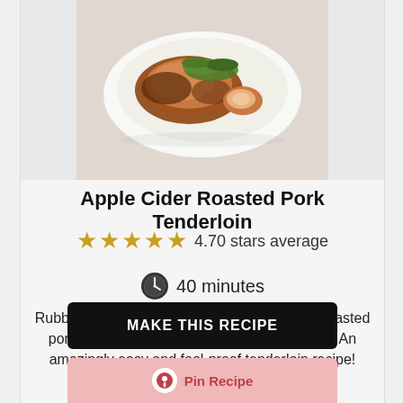[Figure (photo): Roasted pork tenderloin on a white platter with herbs, photographed from above on a white background]
Apple Cider Roasted Pork Tenderloin
4.70 stars average
40 minutes
Rubbed with fragrant spices, this apple cider roasted pork tenderloin is perfectly tender every time! An amazingly easy and fool-proof tenderloin recipe!
MAKE THIS RECIPE
Pin Recipe